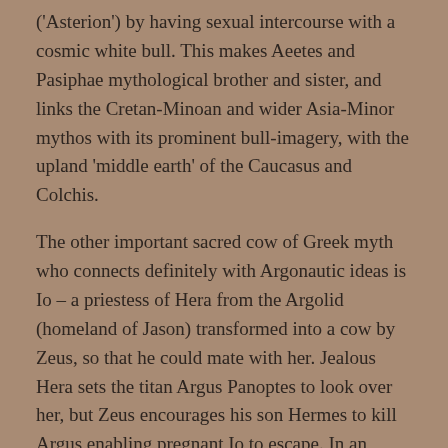('Asterion') by having sexual intercourse with a cosmic white bull. This makes Aeetes and Pasiphae mythological brother and sister, and links the Cretan-Minoan and wider Asia-Minor mythos with its prominent bull-imagery, with the upland 'middle earth' of the Caucasus and Colchis.
The other important sacred cow of Greek myth who connects definitely with Argonautic ideas is Io – a priestess of Hera from the Argolid (homeland of Jason) transformed into a cow by Zeus, so that he could mate with her. Jealous Hera sets the titan Argus Panoptes to look over her, but Zeus encourages his son Hermes to kill Argus enabling pregnant Io to escape. In an Argolid tale echoing the Ionian myth of Leto, Hera then sends a gadfly to harass Io so that she must wonder from place